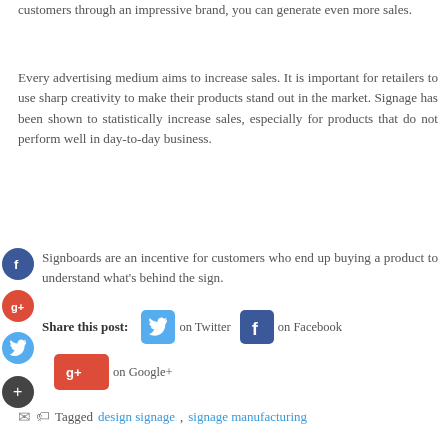customers through an impressive brand, you can generate even more sales.
Every advertising medium aims to increase sales. It is important for retailers to use sharp creativity to make their products stand out in the market. Signage has been shown to statistically increase sales, especially for products that do not perform well in day-to-day business.
Signboards are an incentive for customers who end up buying a product to understand what's behind the sign.
Share this post: on Twitter on Facebook on Google+
Tagged design signage, signage manufacturing